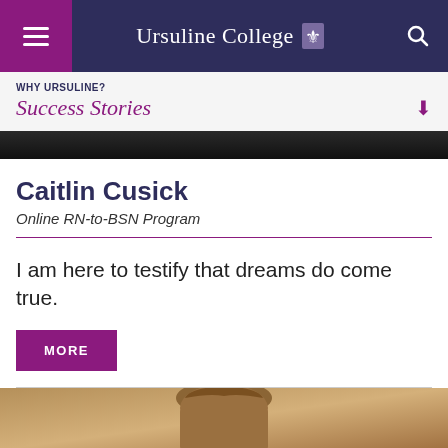Ursuline College
WHY URSULINE?
Success Stories
[Figure (photo): Top portion of a photo, dark background with some foliage visible]
Caitlin Cusick
Online RN-to-BSN Program
I am here to testify that dreams do come true.
MORE
[Figure (photo): Bottom portion of page showing top of a person's head with light brown hair against a neutral background]